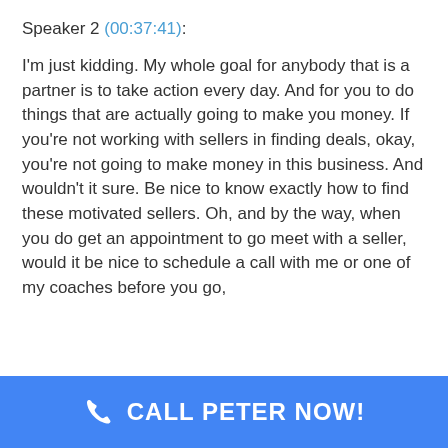Speaker 2 (00:37:41):
I'm just kidding. My whole goal for anybody that is a partner is to take action every day. And for you to do things that are actually going to make you money. If you're not working with sellers in finding deals, okay, you're not going to make money in this business. And wouldn't it sure. Be nice to know exactly how to find these motivated sellers. Oh, and by the way, when you do get an appointment to go meet with a seller, would it be nice to schedule a call with me or one of my coaches before you go,
CALL PETER NOW!